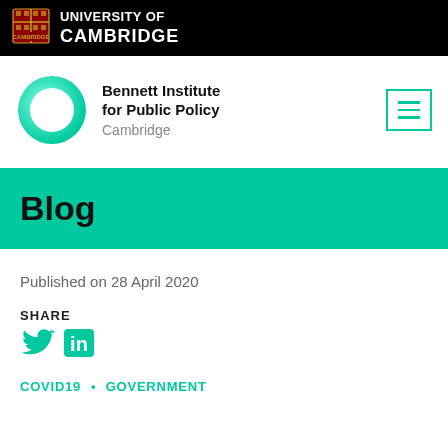[Figure (logo): University of Cambridge logo — shield crest and text 'UNIVERSITY OF CAMBRIDGE' in white on black bar]
[Figure (logo): Bennett Institute for Public Policy Cambridge logo — teal circle ring and bold text]
[Figure (other): Hamburger menu button with three horizontal bars in teal, bordered by teal rectangle]
Blog
Published on 28 April 2020
SHARE
[Figure (other): Twitter bird icon and LinkedIn 'in' icon in teal]
COVID19 • GOVERNMENT